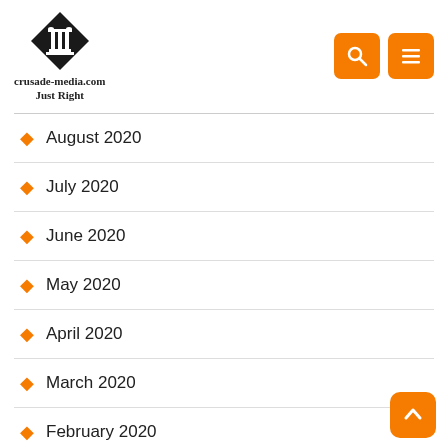[Figure (logo): Crusade Media logo: diamond shape with column capital icon, text 'crusade-media.com Just Right']
August 2020
July 2020
June 2020
May 2020
April 2020
March 2020
February 2020